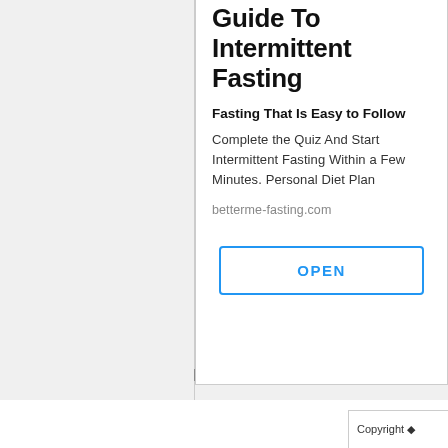Guide To Intermittent Fasting
Fasting That Is Easy to Follow
Complete the Quiz And Start Intermittent Fasting Within a Few Minutes. Personal Diet Plan
betterme-fasting.com
OPEN
Copyright ◆